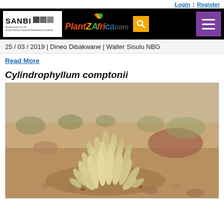Login | Register
[Figure (logo): SANBI and PlantZAfrica.com website header with search and hamburger menu]
25 / 03 / 2019 | Dineo Dibakwane | Walter Sisulu NBG
Read More
Cylindrophyllum comptonii
[Figure (photo): Photograph of Cylindrophyllum comptonii plant — a succulent with clustered cylindrical pale yellowish-green leaves growing in dry rocky/sandy soil with sparse scrub vegetation in the background]